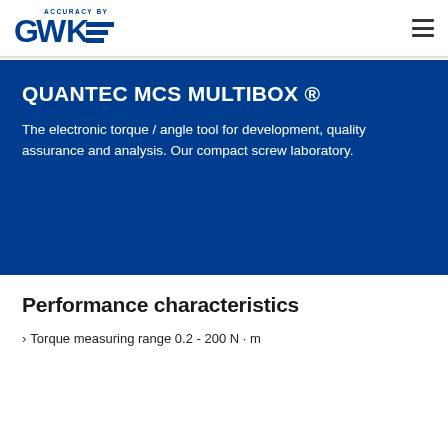[Figure (logo): GWK logo with 'ACCURACY BY' text above and blue horizontal lines graphic]
QUANTEC MCS MULTIBOX ®
The electronic torque / angle tool for development, quality assurance and analysis. Our compact screw laboratory.
Performance characteristics
› Torque measuring range 0.2 - 200 N · m